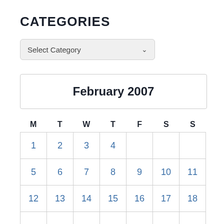CATEGORIES
[Figure (screenshot): A dropdown select box labeled 'Select Category' with a chevron arrow on the right]
| M | T | W | T | F | S | S |
| --- | --- | --- | --- | --- | --- | --- |
| 1 | 2 | 3 | 4 |  |  |  |
| 5 | 6 | 7 | 8 | 9 | 10 | 11 |
| 12 | 13 | 14 | 15 | 16 | 17 | 18 |
|  |  |  |  |  |  |  |